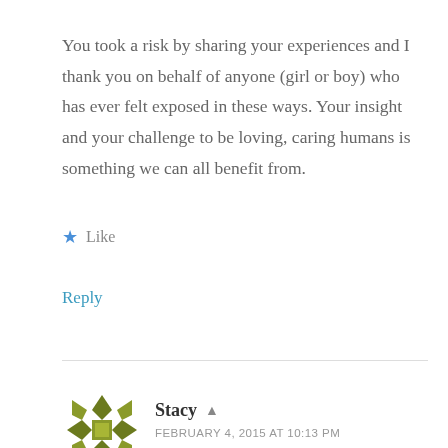You took a risk by sharing your experiences and I thank you on behalf of anyone (girl or boy) who has ever felt exposed in these ways. Your insight and your challenge to be loving, caring humans is something we can all benefit from.
★ Like
Reply
Stacy
FEBRUARY 4, 2015 AT 10:13 PM
Yes, some of those experiences were uncomfortable to write, but I kept thinking of those who have far more devastating accounts